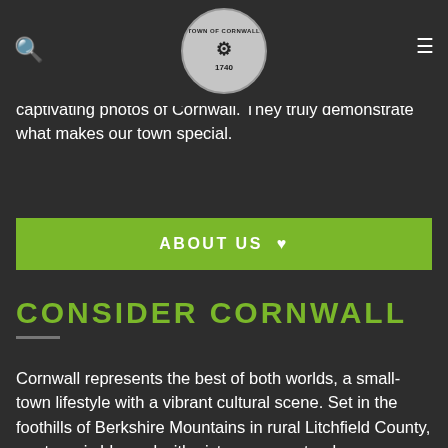Town of Cornwall CT — Navigation header with search icon, logo, and menu icon
group of dedicated volunteers. Our site is unique, representing the community, town, and visitor information in a single, unified experience. Sincere thanks to Lazlo Gyorsok for allowing us to use his captivating photos of Cornwall. They truly demonstrate what makes our town special.
ABOUT US ♥
CONSIDER CORNWALL
Cornwall represents the best of both worlds, a small-town lifestyle with a vibrant cultural scene. Set in the foothills of Berkshire Mountains in rural Litchfield County, our town is blessed with picturesque natural surroundings. Stunning